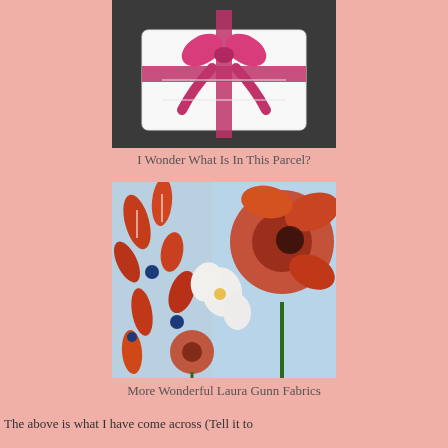[Figure (photo): A white fabric parcel tied with a pink/magenta ribbon bow, placed on a dark surface.]
I Wonder What Is In This Parcel?
[Figure (photo): Colorful floral fabric with red, orange, and blue flowers and leaves on a light blue background — Laura Gunn Fabrics.]
More Wonderful Laura Gunn Fabrics
The above is what I have come across (Tell it to